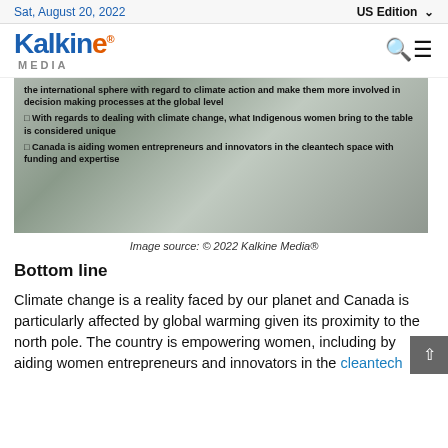Sat, August 20, 2022 | US Edition
[Figure (logo): Kalkine Media logo with search and menu icons]
[Figure (photo): Infographic image with bullet points about Indigenous women and climate action: the international sphere with regard to climate action and make them more involved in decision making processes at the global level; With regards to dealing with climate change, what Indigenous women bring to the table is considered unique; Canada is aiding women entrepreneurs and innovators in the cleantech space with funding and expertise]
Image source: © 2022 Kalkine Media®
Bottom line
Climate change is a reality faced by our planet and Canada is particularly affected by global warming given its proximity to the north pole. The country is empowering women, including by aiding women entrepreneurs and innovators in the cleantech